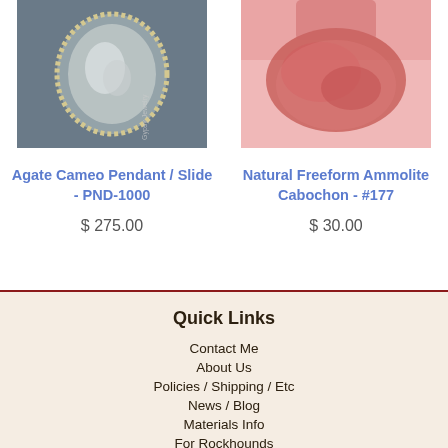[Figure (photo): Agate cameo pendant/slide jewelry photo on dark background with silver beaded frame]
[Figure (photo): Natural freeform ammolite cabochon gemstone photo with red and pink tones]
Agate Cameo Pendant / Slide - PND-1000
$ 275.00
Natural Freeform Ammolite Cabochon - #177
$ 30.00
Quick Links
Contact Me
About Us
Policies / Shipping / Etc
News / Blog
Materials Info
For Rockhounds
Home